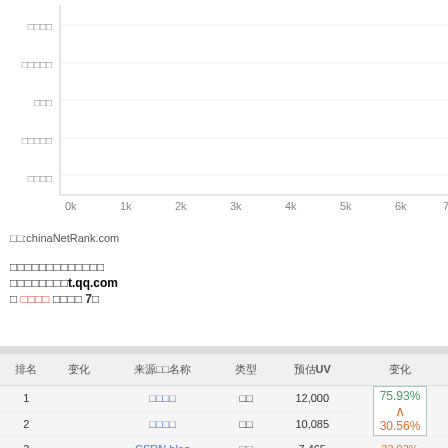[Figure (bar-chart): Horizontal bar chart with Chinese labels on y-axis and values 0k-7k on x-axis, partially visible at top of page]
来源:chinaNetRank.com
以上是各搜索引擎的流量来源
以下是具体来源于t.qq.com
● 腾讯微博 关键词共 7个
| 排名 | 变化 | 来源网站名称 | 类型 | 预估UV | 变化 |
| --- | --- | --- | --- | --- | --- |
| 1 |  | 腾讯微博 | 社区 | 12,000 | 75.93% |
| 2 |  | 腾讯微博 | 社区 | 10,085 | 30.56% |
| 3 |  | CSDN blog | 社区 | 7,465 | 33.93% |
| 4 | ? | 51□□ | 社区 | 300 | 5000% |